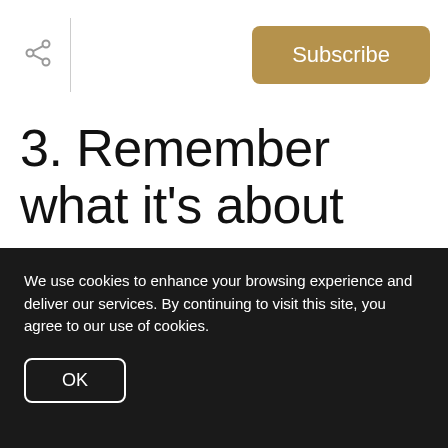Subscribe
3. Remember what it's about
Doing the little things tomorrow is what's important. Mother's Day is a time that should be devoted to showing just how much you love your momma, and
We use cookies to enhance your browsing experience and deliver our services. By continuing to visit this site, you agree to our use of cookies.
OK